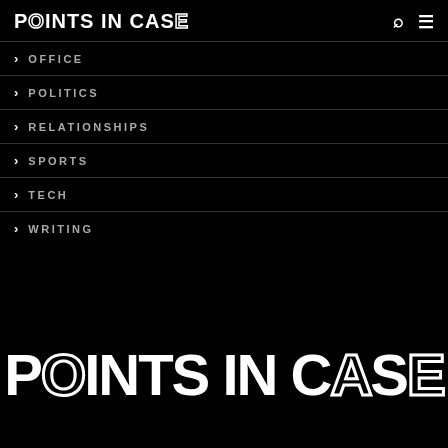POINTS IN CASE
OFFICE
POLITICS
RELATIONSHIPS
SPORTS
TECH
WRITING
[Figure (logo): Large POINTS IN CASE logo in bold white uppercase text on black background]